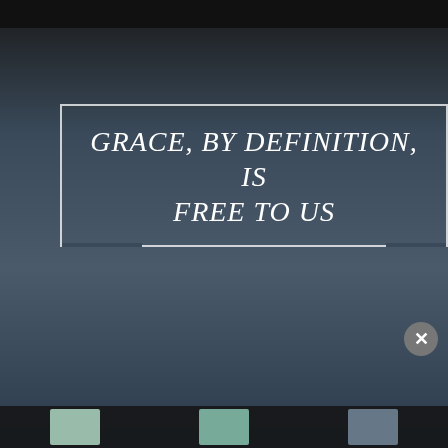GRACE, BY DEFINITION, IS FREE TO US
Grace is so powerful! By definition it is the
Privacy & Cookies: This site uses cookies. By continuing to use this website, you agree to their use.
To find out more, including how to control cookies, see here: Cookie Policy
Close and accept